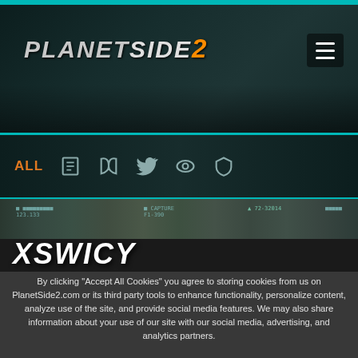[Figure (screenshot): PlanetSide 2 website header with logo and hamburger menu on dark teal background]
[Figure (other): Navigation icon bar with ALL text and social/media icons]
[Figure (screenshot): In-game screenshot strip showing battlefield]
XSWICY
By clicking "Accept All Cookies" you agree to storing cookies from us on PlanetSide2.com or its third party tools to enhance functionality, personalize content, analyze use of the site, and provide social media features. We may also share information about your use of our site with our social media, advertising, and analytics partners.
✓ Accept All PlanetSide2.com Cookies
✗ Reject All PlanetSide2.com Cookies
Personalize PlanetSide2.com Cookies
Cookie Policy